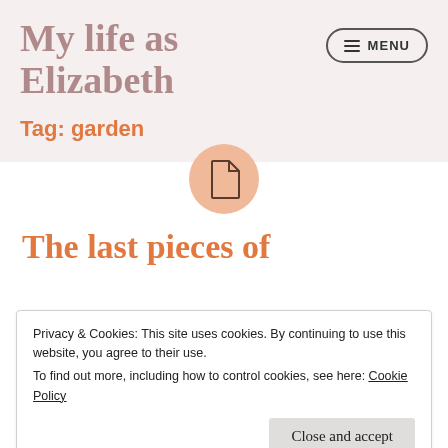My life as Elizabeth
Tag: garden
[Figure (illustration): A document/file icon inside a soft peach-colored circle]
The last pieces of
Privacy & Cookies: This site uses cookies. By continuing to use this website, you agree to their use.
To find out more, including how to control cookies, see here: Cookie Policy
Close and accept